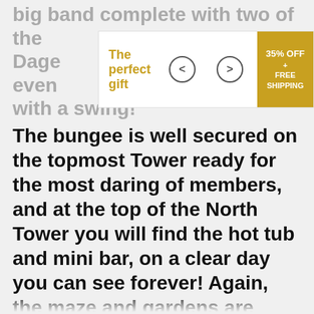big band complete with two of the Dage evening goes with a swing!
[Figure (other): Promotional overlay banner with 'The perfect gift' label, left/right navigation arrows, and a gold '35% OFF + FREE SHIPPING' badge]
The bungee is well secured on the topmost Tower ready for the most daring of members, and at the top of the North Tower you will find the hot tub and mini bar, on a clear day you can see forever! Again, the maze and gardens are open for members wishing an evening stroll, (the head gardener is particularly proud of his spring bulbs this year) the race track is at the ready and the cars all fuelled up and ready to go!